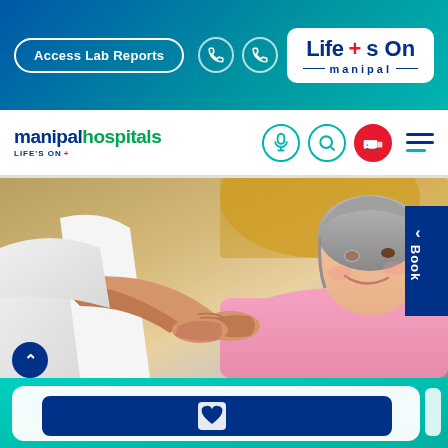[Figure (screenshot): Manipal Hospitals website screenshot showing top banner with Access Lab Reports button, phone icons, and Life's On Manipal logo in teal/blue gradient header]
[Figure (logo): manipalhospitals Life's On logo in navigation bar with teal accent icons (microphone, search, ambulance) and hamburger menu]
[Figure (photo): Hero image of elderly female patient in pink hospital gown smiling while doctor in white coat holds her hand]
[Figure (infographic): Bottom teal section with white card containing dark blue inner card with heart icon]